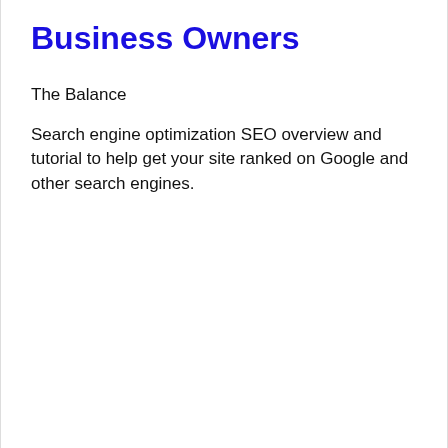Business Owners
The Balance
Search engine optimization SEO overview and tutorial to help get your site ranked on Google and other search engines.